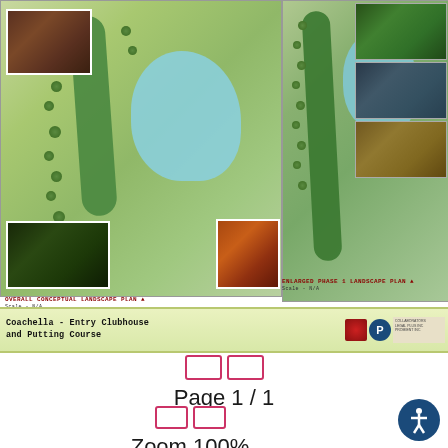[Figure (engineering-diagram): Overall Conceptual Landscape Plan for Coachella Entry Clubhouse and Putting Course, showing fairways, water body, trees, and photo insets of clubhouse and course]
OVERALL CONCEPTUAL LANDSCAPE PLAN ▲
[Figure (engineering-diagram): Enlarged Phase 1 Landscape Plan showing detailed layout with trees, fairways, water feature, and photo insets of golf course and carts]
ENLARGED PHASE 1 LANDSCAPE PLAN ▲
Coachella - Entry Clubhouse and Putting Course
Page 1 / 1
Zoom 100%